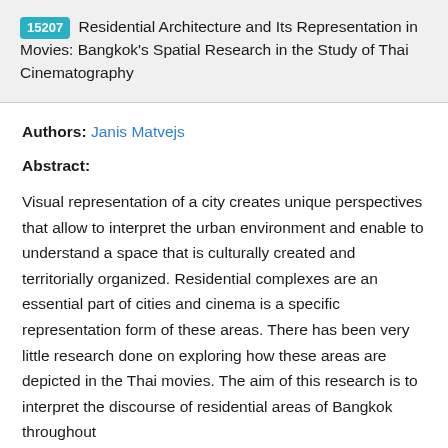15207 Residential Architecture and Its Representation in Movies: Bangkok's Spatial Research in the Study of Thai Cinematography
Authors: Janis Matvejs
Abstract:
Visual representation of a city creates unique perspectives that allow to interpret the urban environment and enable to understand a space that is culturally created and territorially organized. Residential complexes are an essential part of cities and cinema is a specific representation form of these areas. There has been very little research done on exploring how these areas are depicted in the Thai movies. The aim of this research is to interpret the discourse of residential areas of Bangkok throughout